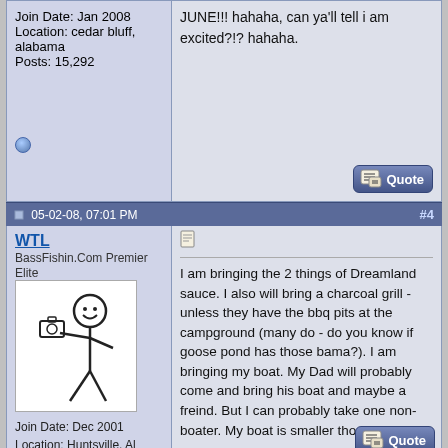Join Date: Jan 2008
Location: cedar bluff, alabama
Posts: 15,292
JUNE!!! hahaha, can ya'll tell i am excited?!? hahaha.
05-02-08, 07:01 PM  #4
WTL
BassFishin.Com Premier Elite
[Figure (illustration): Stick figure avatar holding a fishing rod]
Join Date: Dec 2001
Location: Huntsville, Al
Posts: 7,466
I am bringing the 2 things of Dreamland sauce. I also will bring a charcoal grill - unless they have the bbq pits at the campground (many do - do you know if goose pond has those bama?). I am bringing my boat. My Dad will probably come and bring his boat and maybe a freind. But I can probably take one non-boater. My boat is smaller though.
Selling live waterdogs for less since 2005.